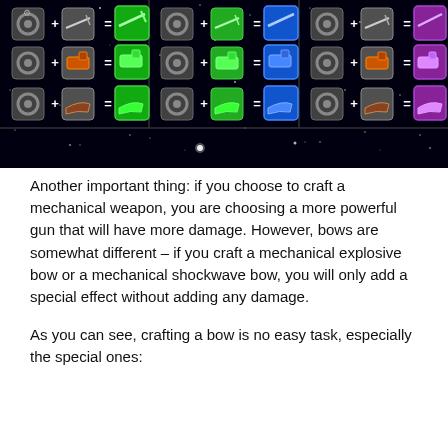[Figure (screenshot): Game screenshot showing a crafting grid with 3 columns and 3 rows. Each cell shows a gear icon + weapon icon = colored result (green, blue, or purple). Below the grid is a dark starfield strip.]
Another important thing: if you choose to craft a mechanical weapon, you are choosing a more powerful gun that will have more damage. However, bows are somewhat different – if you craft a mechanical explosive bow or a mechanical shockwave bow, you will only add a special effect without adding any damage.
As you can see, crafting a bow is no easy task, especially the special ones: